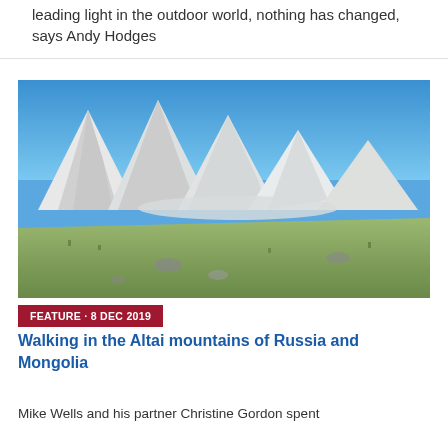leading light in the outdoor world, nothing has changed, says Andy Hodges
[Figure (photo): Panoramic photograph of snow-capped mountains (Altai range) with green alpine meadow in the foreground under a blue sky]
FEATURE · 8 DEC 2019
Walking in the Altai mountains of Russia and Mongolia
Mike Wells and his partner Christine Gordon spent